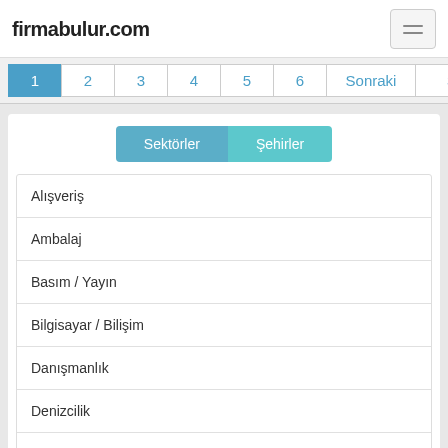firmabulur.com
1 2 3 4 5 6 Sonraki Son
Sektörler Şehirler
Alışveriş
Ambalaj
Basım / Yayın
Bilgisayar / Bilişim
Danışmanlık
Denizcilik
Dericilik / Ayakkabı